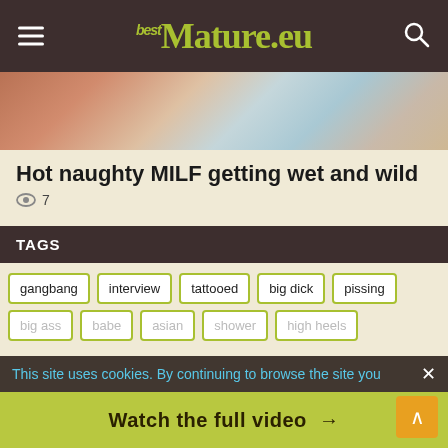BestMature.eu
[Figure (photo): Partial thumbnail of a mature woman in a lace outfit, colorful background]
Hot naughty MILF getting wet and wild
👁 7
TAGS
gangbang
interview
tattooed
big dick
pissing
big ass
babe
asian
shower
high heels
This site uses cookies. By continuing to browse the site you
Watch the full video →